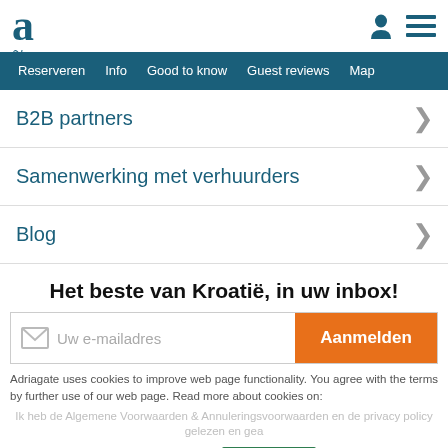[Figure (logo): Adriagate logo: large teal letter 'a' with tilde below]
Reserveren  Info  Good to know  Guest reviews  Map
B2B partners
Samenwerking met verhuurders
Blog
Het beste van Kroatië, in uw inbox!
Uw e-mailadres
Aanmelden
Adriagate uses cookies to improve web page functionality. You agree with the terms by further use of our web page. Read more about cookies on:
Ik heb de Algemene Voorwaarden & Annuleringsvoorwaarden en de privacy policy gelezen en ge...
Privacy Policy
Sluiten